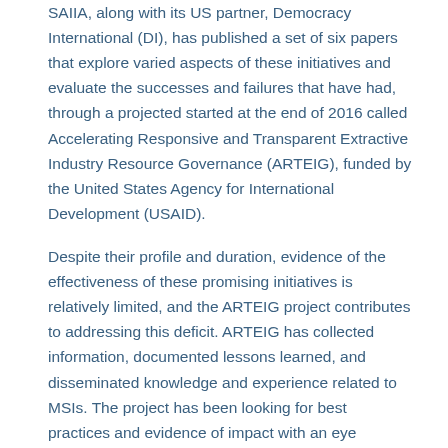SAIIA, along with its US partner, Democracy International (DI), has published a set of six papers that explore varied aspects of these initiatives and evaluate the successes and failures that have had, through a projected started at the end of 2016 called Accelerating Responsive and Transparent Extractive Industry Resource Governance (ARTEIG), funded by the United States Agency for International Development (USAID).
Despite their profile and duration, evidence of the effectiveness of these promising initiatives is relatively limited, and the ARTEIG project contributes to addressing this deficit. ARTEIG has collected information, documented lessons learned, and disseminated knowledge and experience related to MSIs. The project has been looking for best practices and evidence of impact with an eye towards supporting improved civic engagement in these and future such initiatives.